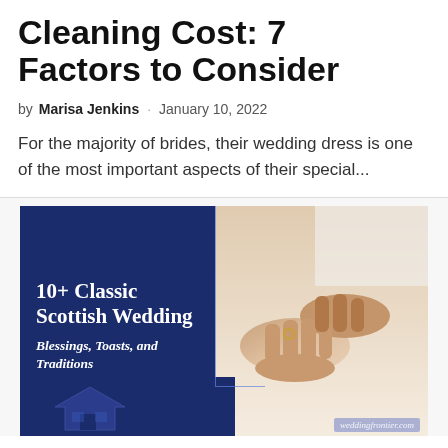Cleaning Cost: 7 Factors to Consider
by Marisa Jenkins · January 10, 2022
For the majority of brides, their wedding dress is one of the most important aspects of their special...
[Figure (photo): Article thumbnail image showing a dark blue panel with text '10+ Classic Scottish Wedding Blessings, Toasts, and Traditions' on the left, and a photo of hands exchanging a ring on the right, with a watermark reading weddingfrontier.com at the bottom right.]